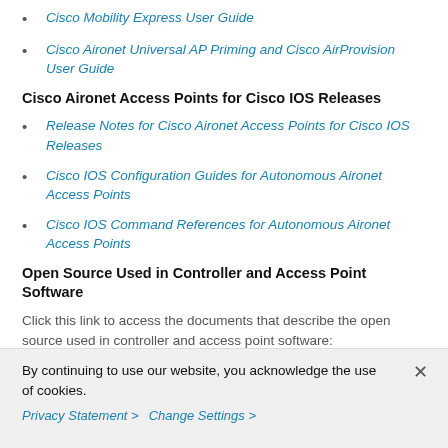Cisco Mobility Express User Guide
Cisco Aironet Universal AP Priming and Cisco AirProvision User Guide
Cisco Aironet Access Points for Cisco IOS Releases
Release Notes for Cisco Aironet Access Points for Cisco IOS Releases
Cisco IOS Configuration Guides for Autonomous Aironet Access Points
Cisco IOS Command References for Autonomous Aironet Access Points
Open Source Used in Controller and Access Point Software
Click this link to access the documents that describe the open source used in controller and access point software:
https://www.cisco.com/c/en/us/about/legal/open-source-
By continuing to use our website, you acknowledge the use of cookies.
Privacy Statement > Change Settings >